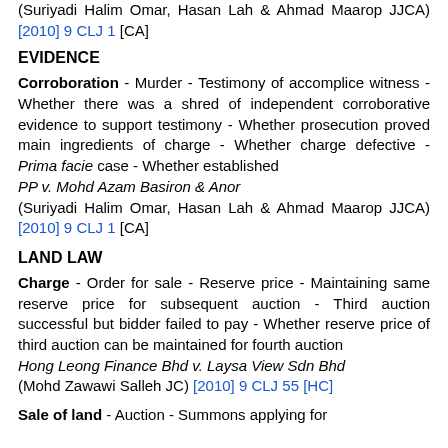(Suriyadi Halim Omar, Hasan Lah & Ahmad Maarop JJCA) [2010] 9 CLJ 1 [CA]
EVIDENCE
Corroboration - Murder - Testimony of accomplice witness - Whether there was a shred of independent corroborative evidence to support testimony - Whether prosecution proved main ingredients of charge - Whether charge defective - Prima facie case - Whether established
PP v. Mohd Azam Basiron & Anor
(Suriyadi Halim Omar, Hasan Lah & Ahmad Maarop JJCA) [2010] 9 CLJ 1 [CA]
LAND LAW
Charge - Order for sale - Reserve price - Maintaining same reserve price for subsequent auction - Third auction successful but bidder failed to pay - Whether reserve price of third auction can be maintained for fourth auction
Hong Leong Finance Bhd v. Laysa View Sdn Bhd
(Mohd Zawawi Salleh JC) [2010] 9 CLJ 55 [HC]
Sale of land - Auction - Summons applying for